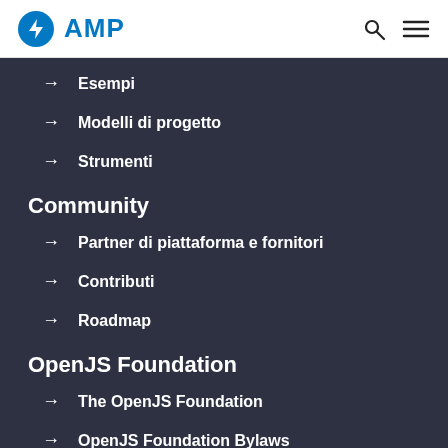AMP
Esempi
Modelli di progetto
Strumenti
Community
Partner di piattaforma e fornitori
Contributi
Roadmap
OpenJS Foundation
The OpenJS Foundation
OpenJS Foundation Bylaws
Trademark Policy
Trademark List